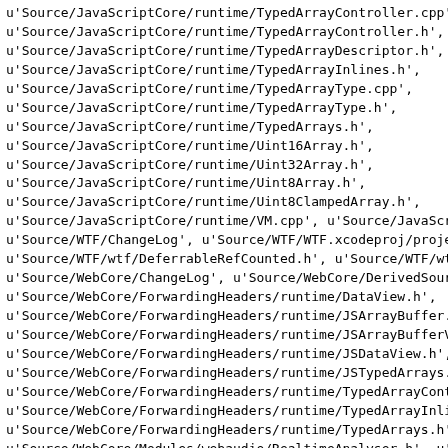u'Source/JavaScriptCore/runtime/TypedArrayController.cpp'
u'Source/JavaScriptCore/runtime/TypedArrayController.h',
u'Source/JavaScriptCore/runtime/TypedArrayDescriptor.h',
u'Source/JavaScriptCore/runtime/TypedArrayInlines.h',
u'Source/JavaScriptCore/runtime/TypedArrayType.cpp',
u'Source/JavaScriptCore/runtime/TypedArrayType.h',
u'Source/JavaScriptCore/runtime/TypedArrays.h',
u'Source/JavaScriptCore/runtime/Uint16Array.h',
u'Source/JavaScriptCore/runtime/Uint32Array.h',
u'Source/JavaScriptCore/runtime/Uint8Array.h',
u'Source/JavaScriptCore/runtime/Uint8ClampedArray.h',
u'Source/JavaScriptCore/runtime/VM.cpp', u'Source/JavaScr
u'Source/WTF/ChangeLog', u'Source/WTF/WTF.xcodeproj/proje
u'Source/WTF/wtf/DeferrableRefCounted.h', u'Source/WTF/wt
u'Source/WebCore/ChangeLog', u'Source/WebCore/DerivedSour
u'Source/WebCore/ForwardingHeaders/runtime/DataView.h',
u'Source/WebCore/ForwardingHeaders/runtime/JSArrayBuffer.
u'Source/WebCore/ForwardingHeaders/runtime/JSArrayBufferV
u'Source/WebCore/ForwardingHeaders/runtime/JSDataView.h',
u'Source/WebCore/ForwardingHeaders/runtime/JSTypedArrays.
u'Source/WebCore/ForwardingHeaders/runtime/TypedArrayCont
u'Source/WebCore/ForwardingHeaders/runtime/TypedArrayInli
u'Source/WebCore/ForwardingHeaders/runtime/TypedArrays.h'
u'Source/WebCore/Modules/webaudio/RealtimeAnalyser.h', u'
u'Source/WebCore/WebCore.xcodeproj/project.pbxproj',
u'Source/WebCore/bindings/js/DOMWrapperWorld.h',
u'Source/WebCore/bindings/js/JSArrayBufferCustom.cpp',
u'Source/WebCore/bindings/js/JSArrayBufferViewHelper.h',
u'Source/WebCore/bindings/js/JSAudioContextCustom.cpp',
u'Source/WebCore/bindings/js/JSBlobCustom.cpp',